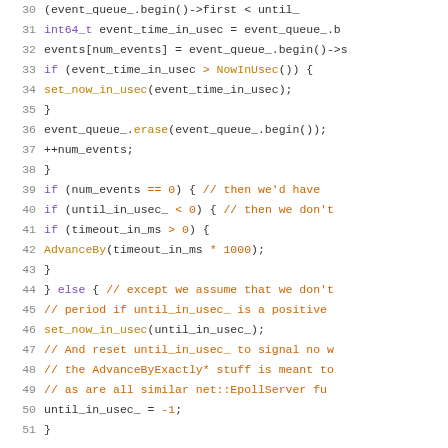Source code listing lines 30-51, C++ event queue processing code